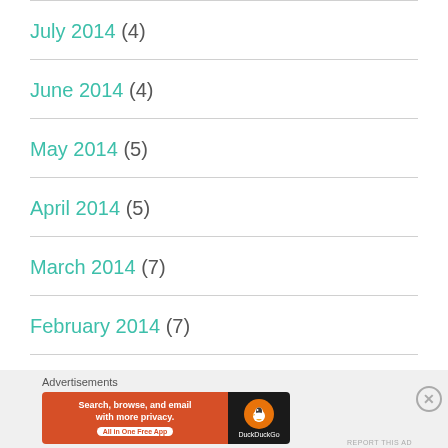July 2014 (4)
June 2014 (4)
May 2014 (5)
April 2014 (5)
March 2014 (7)
February 2014 (7)
Advertisements
[Figure (screenshot): DuckDuckGo advertisement banner: orange left panel with text 'Search, browse, and email with more privacy. All in One Free App' and dark right panel with DuckDuckGo duck logo]